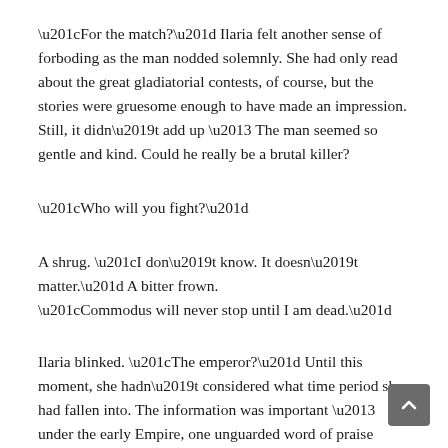“For the match?” Ilaria felt another sense of forboding as the man nodded solemnly. She had only read about the great gladiatorial contests, of course, but the stories were gruesome enough to have made an impression. Still, it didn’t add up – The man seemed so gentle and kind. Could he really be a brutal killer?
“Who will you fight?”
A shrug. “I don’t know. It doesn’t matter.” A bitter frown. “Commodus will never stop until I am dead.”
Ilaria blinked. “The emperor?” Until this moment, she hadn’t considered what time period she had fallen into. The information was important – under the early Empire, one unguarded word of praise – or censure – for the wrong